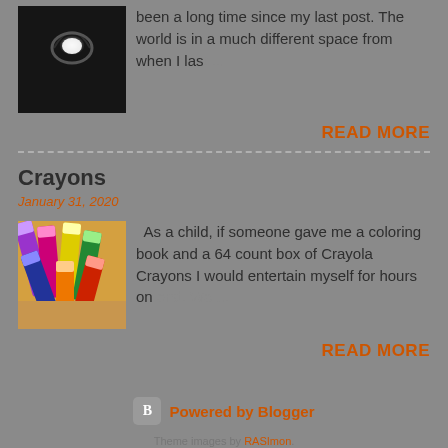[Figure (photo): Black and white photo of a tunnel with light at the end]
been a long time since my last post. The world is in a much different space from when I last ...
READ MORE
Crayons
January 31, 2020
[Figure (photo): Photo of colorful Crayola crayons]
As a child, if someone gave me a coloring book and a 64 count box of Crayola Crayons I would entertain myself for hours on end. We ...
READ MORE
Powered by Blogger
Theme images by RASImon.